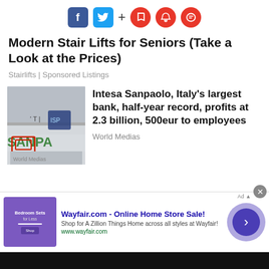[Figure (infographic): Social media sharing bar with Facebook (blue), Twitter (light blue), plus sign, and three red circular icons (bookmark, notification bell, comment)]
Modern Stair Lifts for Seniors (Take a Look at the Prices)
Stairlifts | Sponsored Listings
[Figure (photo): Intesa Sanpaolo bank signage photo showing the bank logo and green lettering on a building]
Intesa Sanpaolo, Italy’s largest bank, half-year record, profits at 2.3 billion, 500eur to employees
World Medias
[Figure (infographic): Wayfair.com advertisement banner: Online Home Store Sale! with purple bedroom furniture image and arrow button]